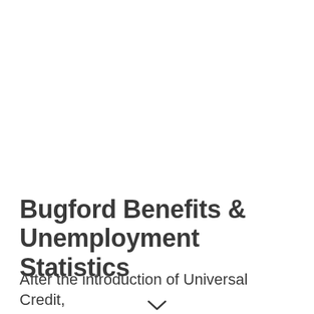Bugford Benefits & Unemployment Statistics
After the introduction of Universal Credit,